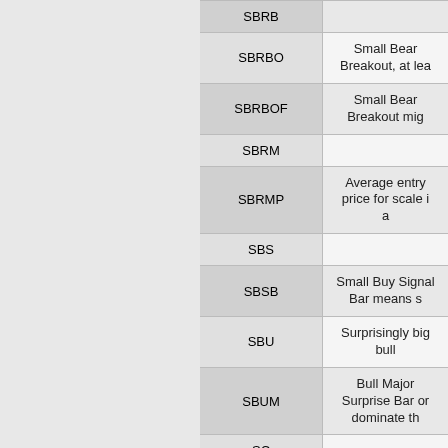| Abbreviation | Definition |
| --- | --- |
| SBRB |  |
| SBRBO | Small Bear Breakout, at lea... |
| SBRBOF | Small Bear Breakout mig... |
| SBRM |  |
| SBRMP | Average entry price for scale i... |
| SBS |  |
| SBSB | Small Buy Signal Bar means s... |
| SBU | Surprisingly big bull ... |
| SBUM | Bull Major Surprise Bar or... dominate th... |
| SC |  |
| SCBL | Spike and Channel Bull Trend... |
| SCBR | Spike and Channel Bear Tre... |
| SCD | Spike and Channel Bear Tre... |
| SCS |  |
| SCT | Spike and Channel Trend is... |